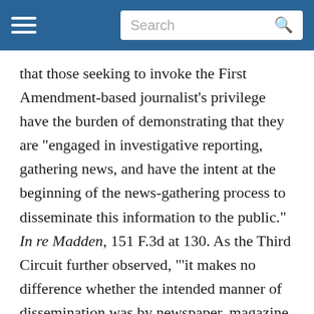Search
that those seeking to invoke the First Amendment-based journalist's privilege have the burden of demonstrating that they are "engaged in investigative reporting, gathering news, and have the intent at the beginning of the news-gathering process to disseminate this information to the public." In re Madden, 151 F.3d at 130. As the Third Circuit further observed, "'it makes no difference whether the intended manner of dissemination was by newspaper, magazine, book, public or private broadcast or handbill because the press, in its historic connotation comprehends every sort of publication which affords a vehicle of information and opinion.'" Id. at 129 (citation omitted).